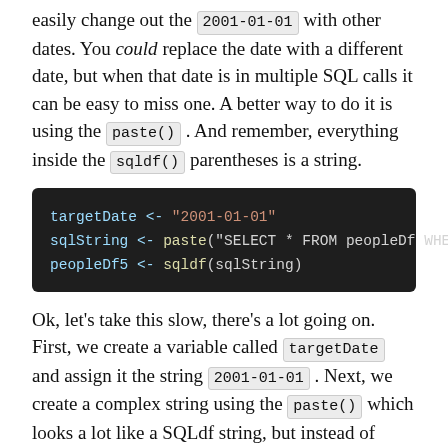easily change out the 2001-01-01 with other dates. You could replace the date with a different date, but when that date is in multiple SQL calls it can be easy to miss one. A better way to do it is using the paste() . And remember, everything inside the sqldf() parentheses is a string.
[Figure (screenshot): Dark code block showing R code: targetDate <- "2001-01-01", sqlString <- paste("SELECT * FROM peopleDf WHERE", peopleDf5 <- sqldf(sqlString)]
Ok, let's take this slow, there's a lot going on. First, we create a variable called targetDate and assign it the string 2001-01-01 . Next, we create a complex string using the paste() which looks a lot like a SQLdf string, but instead of hardcoding the date, we insert the targetDate variable. This creates the following